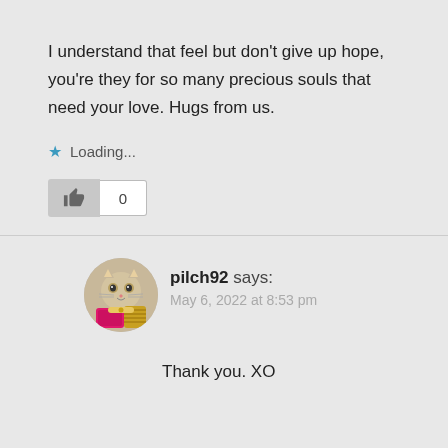I understand that feel but don't give up hope, you're they for so many precious souls that need your love. Hugs from us.
Loading...
[Figure (infographic): Like button with thumbs up icon and count of 0]
[Figure (illustration): Avatar image of a cartoon cat character with pink and gold styling for user pilch92]
pilch92 says:
May 6, 2022 at 8:53 pm
Thank you. XO